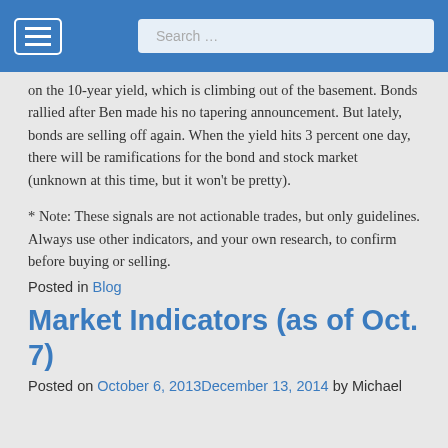Navigation bar with hamburger menu and search box
on the 10-year yield, which is climbing out of the basement. Bonds rallied after Ben made his no tapering announcement. But lately, bonds are selling off again. When the yield hits 3 percent one day, there will be ramifications for the bond and stock market (unknown at this time, but it won't be pretty).
* Note: These signals are not actionable trades, but only guidelines. Always use other indicators, and your own research, to confirm before buying or selling.
Posted in Blog
Market Indicators (as of Oct. 7)
Posted on October 6, 2013December 13, 2014 by Michael